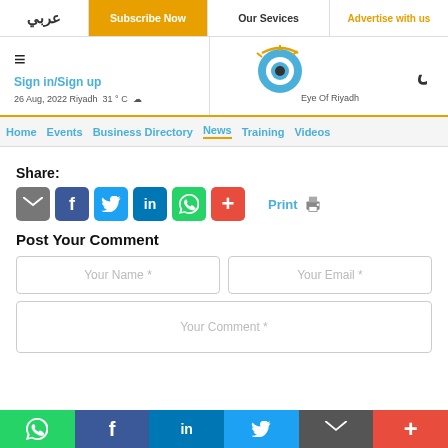عربي | Subscribe Now | Our Sevices | Advertise with us
[Figure (logo): Eye of Riyadh logo with Arabic text and stylized eye globe graphic]
Sign in/Sign up
26 Aug, 2022 Riyadh  31 ° C
Home  Events  Business Directory  News  Training  Videos
Share:
Print
Post Your Comment
Your Name *
Your Email *
Your Comment *
WhatsApp | Facebook | LinkedIn | Twitter | Email | More